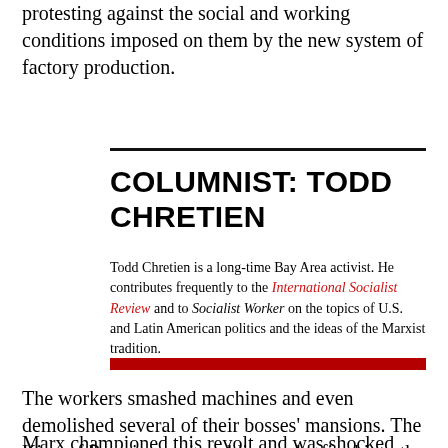protesting against the social and working conditions imposed on them by the new system of factory production.
COLUMNIST: TODD CHRETIEN
Todd Chretien is a long-time Bay Area activist. He contributes frequently to the International Socialist Review and to Socialist Worker on the topics of U.S. and Latin American politics and the ideas of the Marxist tradition.
The workers smashed machines and even demolished several of their bosses' mansions. The King of Prussia sent in soldiers, who fired into the crowd, killing at least 11 workers and injuring many more.
Marx championed this revolt and was shocked when